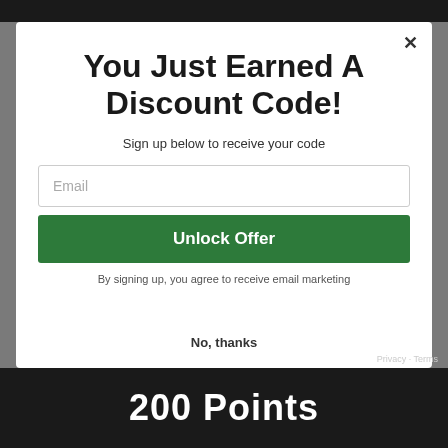You Just Earned A Discount Code!
Sign up below to receive your code
Email
Unlock Offer
By signing up, you agree to receive email marketing
No, thanks
200 Points